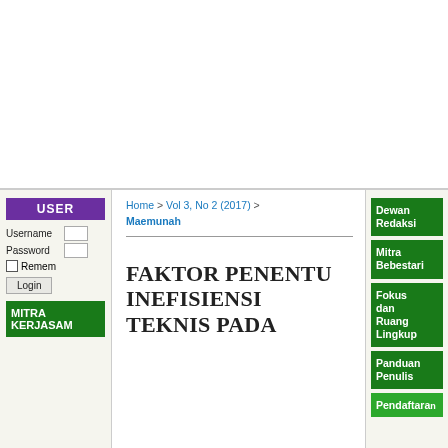Home > Vol 3, No 2 (2017) > Maemunah
FAKTOR PENENTU INEFISIENSI TEKNIS PADA
USER
Username
Password
Remember
Login
MITRA KERJASAM
Dewan Redaksi
Mitra Bebestari
Fokus dan Ruang Lingkup
Panduan Penulis
Pendaftaran